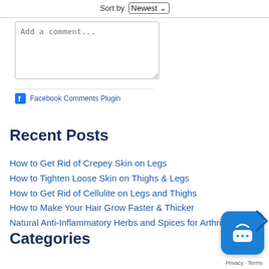Sort by Newest
Add a comment...
Facebook Comments Plugin
Recent Posts
How to Get Rid of Crepey Skin on Legs
How to Tighten Loose Skin on Thighs & Legs
How to Get Rid of Cellulite on Legs and Thighs
How to Make Your Hair Grow Faster & Thicker
Natural Anti-Inflammatory Herbs and Spices for Arthritis
Categories